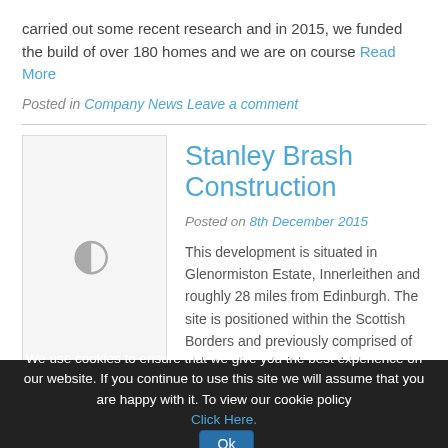carried out some recent research and in 2015, we funded the build of over 180 homes and we are on course Read More
Posted in Company News Leave a comment
Stanley Brash Construction
Posted on 8th December 2015
[Figure (other): Loading spinner icon placeholder for article thumbnail image]
This development is situated in Glenormiston Estate, Innerleithen and roughly 28 miles from Edinburgh. The site is positioned within the Scottish Borders and previously comprised of old steadings buildings which were partly demolished by
We use cookies to ensure that we give you the best experience on our website. If you continue to use this site we will assume that you are happy with it. To view our cookie policy Click Here. Ok